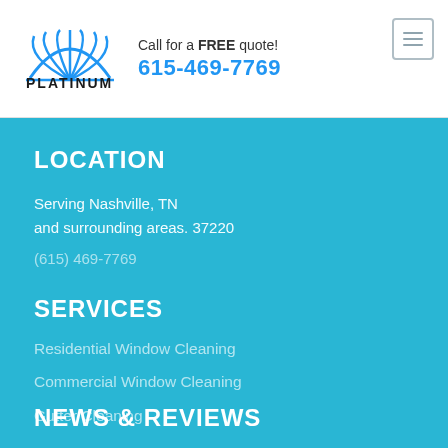[Figure (logo): Platinum Window Cleaning logo with fan/sunburst icon above company name]
Call for a FREE quote!
615-469-7769
[Figure (illustration): Menu/hamburger icon button top right]
LOCATION
Serving Nashville, TN
and surrounding areas. 37220
(615) 469-7769
SERVICES
Residential Window Cleaning
Commercial Window Cleaning
Gutter Cleaning
NEWS & REVIEWS